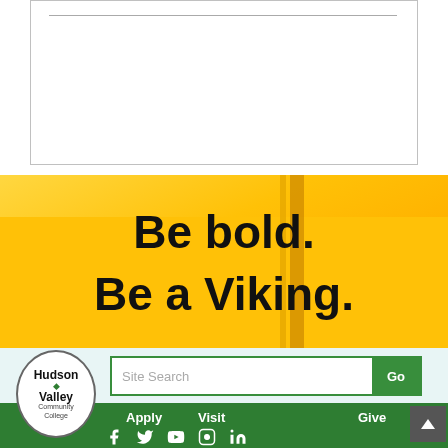[Figure (other): White box with a horizontal line near the top, representing a form or content area placeholder]
[Figure (photo): Yellow/golden background banner with bold text 'Be bold. Be a Viking.' overlaid, with diagonal amber/orange geometric lines]
[Figure (other): Light blue-tinted background section below the banner]
[Figure (screenshot): Hudson Valley Community College website footer with logo, site search bar with Go button, Apply, Visit, Give labels, and social media icons (Facebook, Twitter, YouTube, Instagram, LinkedIn)]